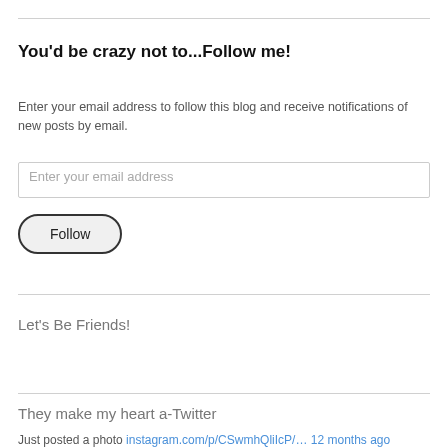You'd be crazy not to...Follow me!
Enter your email address to follow this blog and receive notifications of new posts by email.
Enter your email address
Follow
Let's Be Friends!
They make my heart a-Twitter
Just posted a photo instagram.com/p/CSwmhQliIcP/… 12 months ago